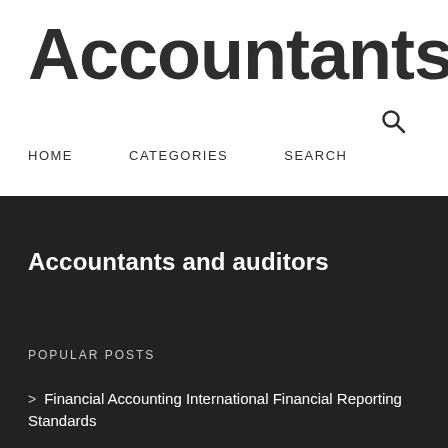Accountants ar
HOME  CATEGORIES  SEARCH
Accountants and auditors
POPULAR POSTS
Financial Accounting International Financial Reporting Standards